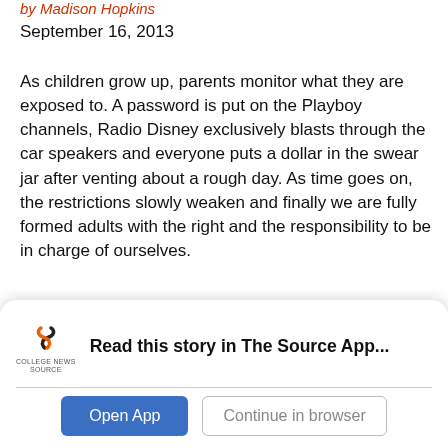by Madison Hopkins
September 16, 2013
As children grow up, parents monitor what they are exposed to. A password is put on the Playboy channels, Radio Disney exclusively blasts through the car speakers and everyone puts a dollar in the swear jar after venting about a rough day. As time goes on, the restrictions slowly weaken and finally we are fully formed adults with the right and the responsibility to be in charge of ourselves.
Apparently, not everyone agrees on when this pivotal moment occurs. One Florida sheriff even called for
[Figure (other): College News Source app banner with logo, tagline 'Read this story in The Source App...', and two buttons: 'Open App' and 'Continue in browser']